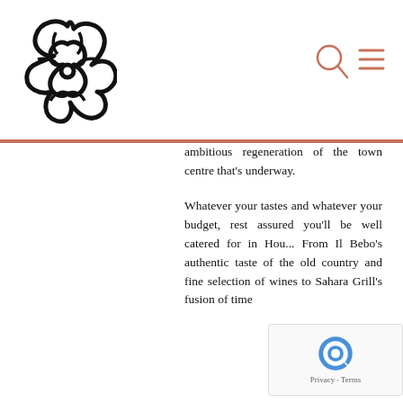[Figure (logo): Celtic knot style logo — black interlaced symmetrical floral/knot design]
[Figure (illustration): Search icon (magnifying glass) and hamburger menu icon in terracotta/salmon color in the top right header area]
ambitious regeneration of the town centre that's underway.
Whatever your tastes and whatever your budget, rest assured you'll be well catered for in Hou... From Il Bebo's authentic taste of the old country and fine selection of wines to Sahara Grill's fusion of time